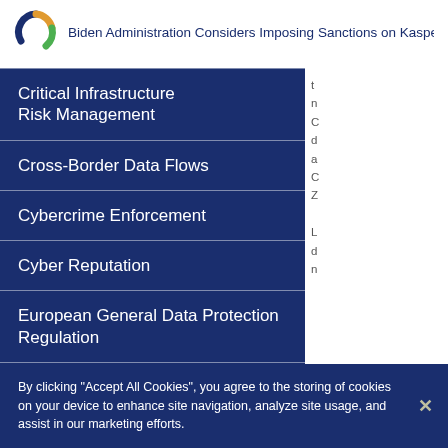Biden Administration Considers Imposing Sanctions on Kaspe...
Critical Infrastructure Risk Management
Cross-Border Data Flows
Cybercrime Enforcement
Cyber Reputation
European General Data Protection Regulation
By clicking “Accept All Cookies”, you agree to the storing of cookies on your device to enhance site navigation, analyze site usage, and assist in our marketing efforts.